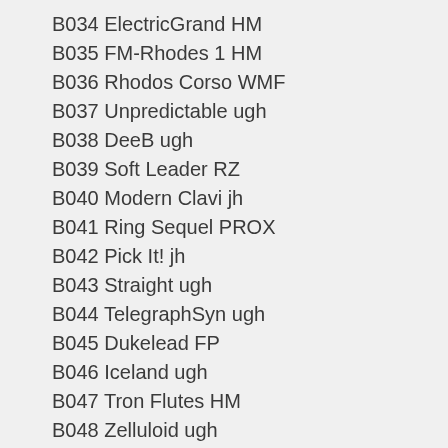B034 ElectricGrand HM
B035 FM-Rhodes 1 HM
B036 Rhodos Corso WMF
B037 Unpredictable ugh
B038 DeeB ugh
B039 Soft Leader RZ
B040 Modern Clavi jh
B041 Ring Sequel PROX
B042 Pick It! jh
B043 Straight ugh
B044 TelegraphSyn ugh
B045 Dukelead FP
B046 Iceland ugh
B047 Tron Flutes HM
B048 Zelluloid ugh
B049 Bells WMF
B050 Hansaplast ugh
B051 Broadway ugh
B052 Wartofsky T